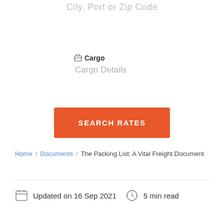City, Port or Zip Code
Cargo
Cargo Details
SEARCH RATES
Home / Documents / The Packing List: A Vital Freight Document
Updated on 16 Sep 2021  5 min read